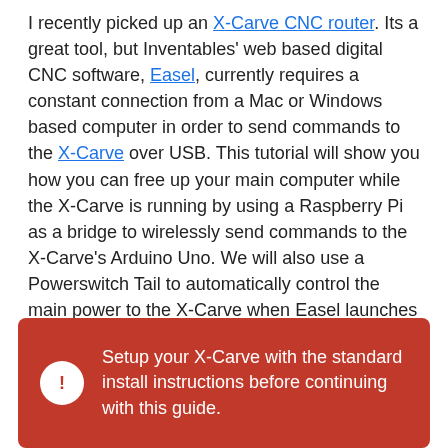I recently picked up an X-Carve CNC router. Its a great tool, but Inventables' web based digital CNC software, Easel, currently requires a constant connection from a Mac or Windows based computer in order to send commands to the X-Carve over USB. This tutorial will show you how you can free up your main computer while the X-Carve is running by using a Raspberry Pi as a bridge to wirelessly send commands to the X-Carve's Arduino Uno. We will also use a Powerswitch Tail to automatically control the main power to the X-Carve when Easel launches in your web browser.
Setup your X-Carve with the standard install instructions before continuing with this guide.